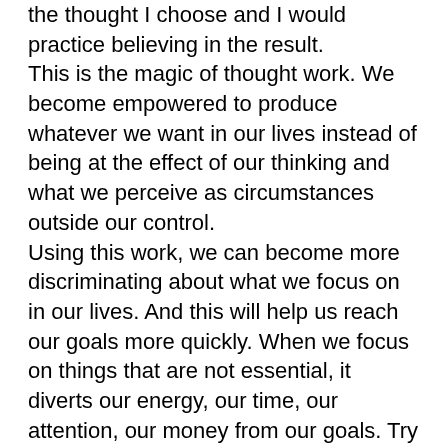the thought I choose and I would practice believing in the result. This is the magic of thought work. We become empowered to produce whatever we want in our lives instead of being at the effect of our thinking and what we perceive as circumstances outside our control. Using this work, we can become more discriminating about what we focus on in our lives. And this will help us reach our goals more quickly. When we focus on things that are not essential, it diverts our energy, our time, our attention, our money from our goals. Try walking in a straight line toward a destination. Then try walking to the right, then diagonally to the left, then back to the right, then back to the left in a random zigzag pattern. To get to the same destination, you will have to take more steps and it will take you longer to arrive. This is what happens when we focus on the non-essential. Take a look at the things you're focusing on. Why are you focusing on these things? Do the thought work around